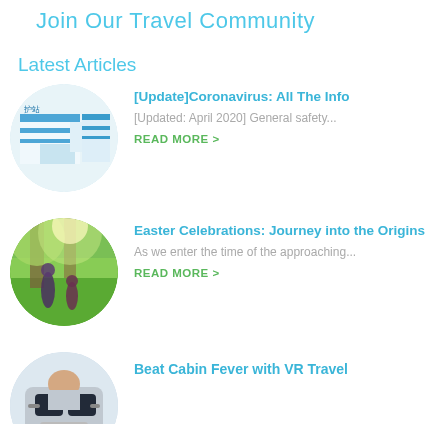Join Our Travel Community
Latest Articles
[Figure (photo): Circular photo of a medical/hospital reception area with blue and white striped walls]
[Update]Coronavirus: All The Info
[Updated: April 2020] General safety...
READ MORE >
[Figure (photo): Circular photo of two children in a sunny forest meadow]
Easter Celebrations: Journey into the Origins
As we enter the time of the approaching...
READ MORE >
[Figure (photo): Circular photo partially visible of a person using VR headset]
Beat Cabin Fever with VR Travel